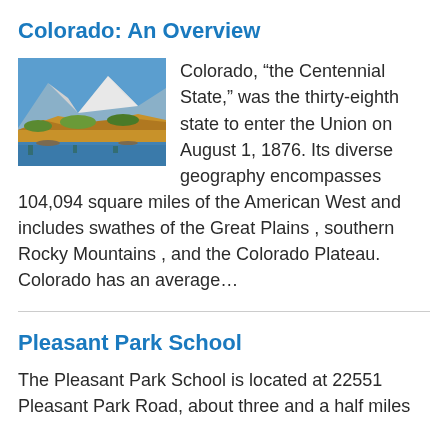Colorado: An Overview
[Figure (photo): Mountain landscape with snow-capped peaks, autumn foliage, and a lake in the foreground.]
Colorado, “the Centennial State,” was the thirty-eighth state to enter the Union on August 1, 1876. Its diverse geography encompasses 104,094 square miles of the American West and includes swathes of the Great Plains , southern Rocky Mountains , and the Colorado Plateau. Colorado has an average…
Pleasant Park School
The Pleasant Park School is located at 22551 Pleasant Park Road, about three and a half miles